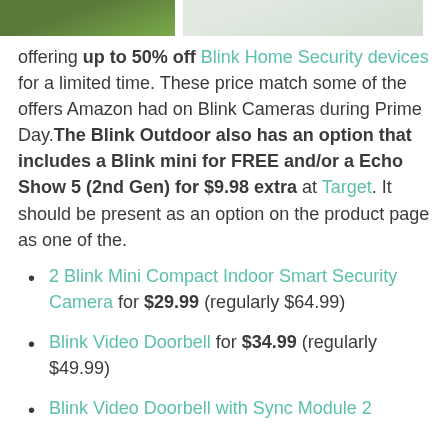[Figure (photo): Two partial product images at top: left shows green foliage background, right shows a light gray/white background product shot.]
offering up to 50% off Blink Home Security devices for a limited time. These price match some of the offers Amazon had on Blink Cameras during Prime Day. The Blink Outdoor also has an option that includes a Blink mini for FREE and/or a Echo Show 5 (2nd Gen) for $9.98 extra at Target. It should be present as an option on the product page as one of the.
2 Blink Mini Compact Indoor Smart Security Camera for $29.99 (regularly $64.99)
Blink Video Doorbell for $34.99 (regularly $49.99)
Blink Video Doorbell with Sync Module 2